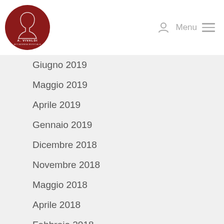[Figure (logo): A. Vivaldi Accademia Musicale circular red logo with white line art portrait and text]
Giugno 2019
Maggio 2019
Aprile 2019
Gennaio 2019
Dicembre 2018
Novembre 2018
Maggio 2018
Aprile 2018
Febbraio 2018
Dicembre 2017